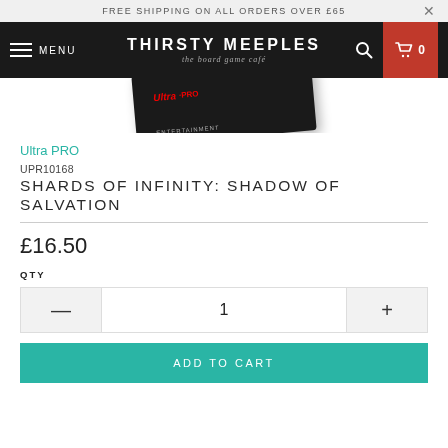FREE SHIPPING ON ALL ORDERS OVER £65
[Figure (screenshot): Thirsty Meeples board game café navigation bar with menu, logo, search, and cart icons]
[Figure (photo): Ultra PRO product box partially shown at top]
Ultra PRO
UPR10168
SHARDS OF INFINITY: SHADOW OF SALVATION
£16.50
QTY
1
ADD TO CART